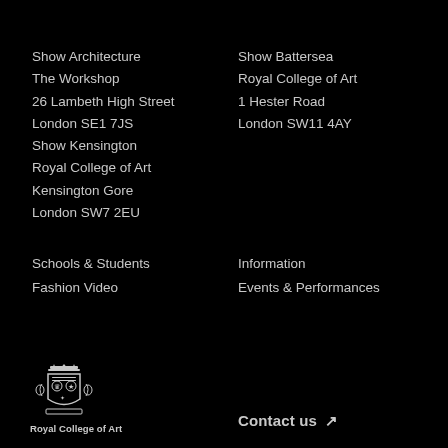Show Architecture
The Workshop
26 Lambeth High Street
London SE1 7JS
Show Kensington
Royal College of Art
Kensington Gore
London SW7 2EU
Show Battersea
Royal College of Art
1 Hester Road
London SW11 4AY
Schools & Students
Fashion Video
Information
Events & Performances
[Figure (logo): Royal College of Art heraldic crest logo with crown and shield]
Royal College of Art
Contact us ↗